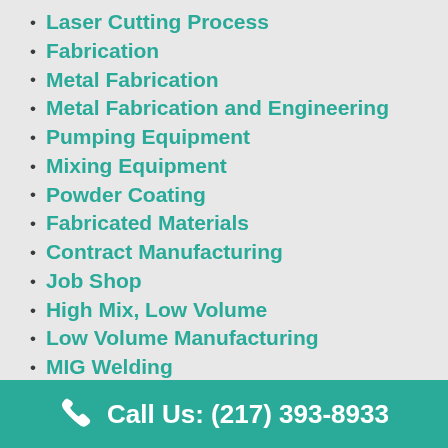Laser Cutting Process
Fabrication
Metal Fabrication
Metal Fabrication and Engineering
Pumping Equipment
Mixing Equipment
Powder Coating
Fabricated Materials
Contract Manufacturing
Job Shop
High Mix, Low Volume
Low Volume Manufacturing
MIG Welding
TIG Welding
Spot Welding
Aerospace Welding
Press Brake Bending
Call Us: (217) 393-8933